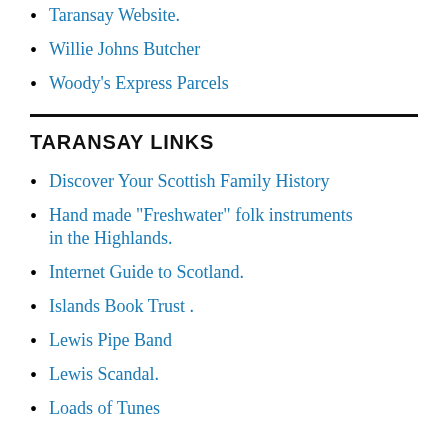Taransay Website.
Willie Johns Butcher
Woody's Express Parcels
TARANSAY LINKS
Discover Your Scottish Family History
Hand made "Freshwater" folk instruments in the Highlands.
Internet Guide to Scotland.
Islands Book Trust .
Lewis Pipe Band
Lewis Scandal.
Loads of Tunes